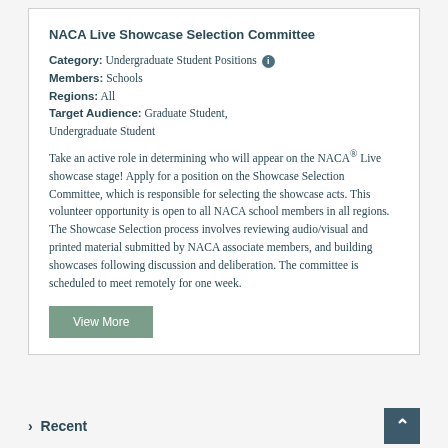NACA Live Showcase Selection Committee
Category: Undergraduate Student Positions
Members: Schools
Regions: All
Target Audience: Graduate Student, Undergraduate Student
Take an active role in determining who will appear on the NACA® Live showcase stage! Apply for a position on the Showcase Selection Committee, which is responsible for selecting the showcase acts. This volunteer opportunity is open to all NACA school members in all regions. The Showcase Selection process involves reviewing audio/visual and printed material submitted by NACA associate members, and building showcases following discussion and deliberation. The committee is scheduled to meet remotely for one week.
View More
› Recent